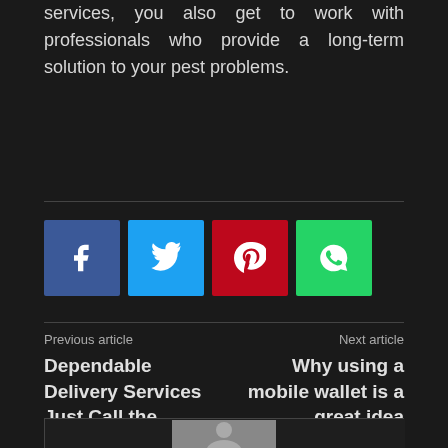services, you also get to work with professionals who provide a long-term solution to your pest problems.
[Figure (infographic): Social sharing buttons: Facebook (blue), Twitter (light blue), Pinterest (red), WhatsApp (green)]
Previous article
Next article
Dependable Delivery Services Just Call the Experts
Why using a mobile wallet is a great idea
[Figure (photo): Author avatar placeholder with grey background and silhouette]